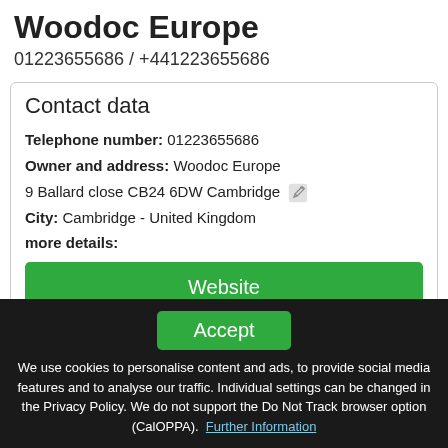Woodoc Europe
01223655686 / +441223655686
Contact data
Telephone number: 01223655686
Owner and address: Woodoc Europe
9 Ballard close CB24 6DW Cambridge
City: Cambridge - United Kingdom
more details:
Website
This info is supplied without liability.
Map view
Accept
We use cookies to personalise content and ads, to provide social media features and to analyse our traffic. Individual settings can be changed in the Privacy Policy. We do not support the Do Not Track browser option (CalOPPA). Further Information